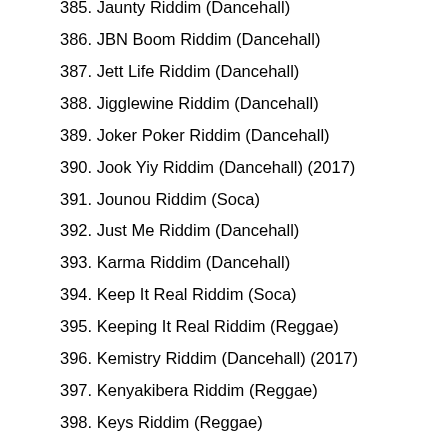385. Jaunty Riddim (Dancehall)
386. JBN Boom Riddim (Dancehall)
387. Jett Life Riddim (Dancehall)
388. Jigglewine Riddim (Dancehall)
389. Joker Poker Riddim (Dancehall)
390. Jook Yiy Riddim (Dancehall) (2017)
391. Jounou Riddim (Soca)
392. Just Me Riddim (Dancehall)
393. Karma Riddim (Dancehall)
394. Keep It Real Riddim (Soca)
395. Keeping It Real Riddim (Reggae)
396. Kemistry Riddim (Dancehall) (2017)
397. Kenyakibera Riddim (Reggae)
398. Keys Riddim (Reggae)
399. Kill A Vibe Riddim (Dancehall) (2017)